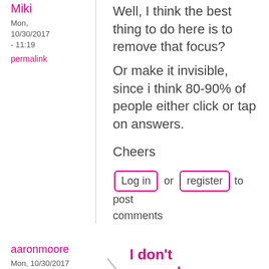Miki
Mon, 10/30/2017 - 11:19
permalink
Well, I think the best thing to do here is to remove that focus?
Or make it invisible, since i think 80-90% of people either click or tap on answers.

Cheers
Log in or register to post comments
aaronmoore
Mon, 10/30/2017 - 16:31
permalink
I don't remember seeing a